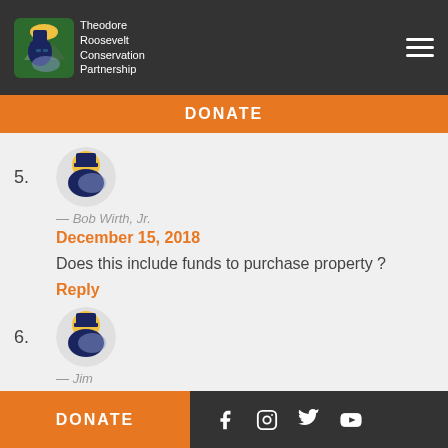Theodore Roosevelt Conservation Partnership
DONATE
5. — Bob Wirth, Jr. December 15, 2018 Does this include funds to purchase property ? Reply
6. — Jim December 15, 2018 I would like to see an emphasis on timber
DONATE